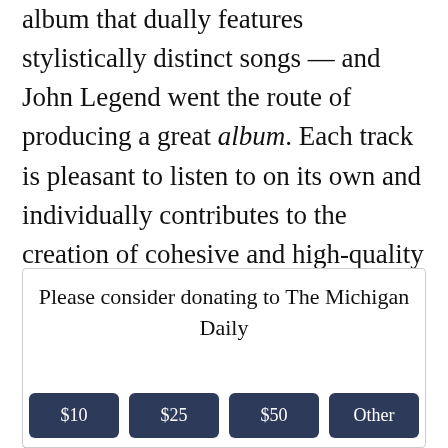album that dually features stylistically distinct songs — and John Legend went the route of producing a great album. Each track is pleasant to listen to on its own and individually contributes to the creation of cohesive and high-quality album; two components that many artists fail to achieve in the fast-paced, market-driven environment dominating the modern music industry.
Please consider donating to The Michigan Daily
$10 | $25 | $50 | Other